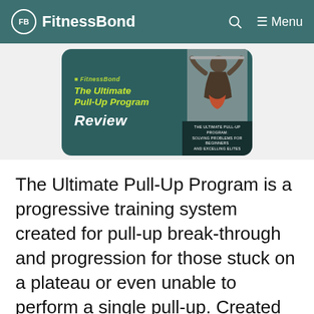FitnessBond — Menu
[Figure (illustration): The Ultimate Pull-Up Program Review banner image on a dark teal background with yellow-green italic text and a photo of a woman doing pull-ups on the right side]
The Ultimate Pull-Up Program is a progressive training system created for pull-up break-through and progression for those stuck on a plateau or even unable to perform a single pull-up. Created by a woman, it was …